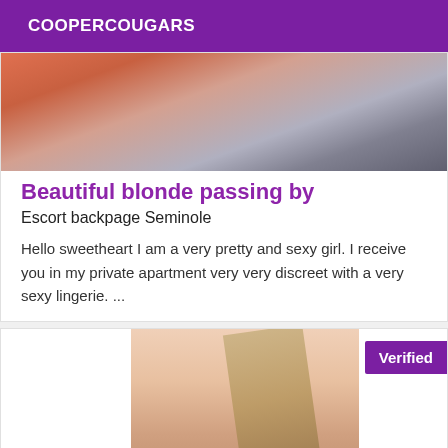COOPERCOUGARS
[Figure (photo): Cropped photo showing a person's shoulder and back area, warm skin tones with dark background]
Beautiful blonde passing by
Escort backpage Seminole
Hello sweetheart I am a very pretty and sexy girl. I receive you in my private apartment very very discreet with a very sexy lingerie. ...
[Figure (photo): Photo of a blonde woman in white lingerie, Verified badge in purple in top right corner]